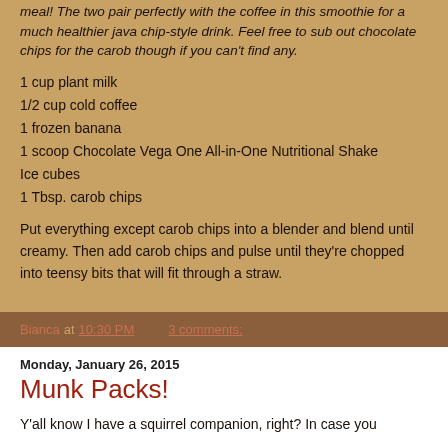meal! The two pair perfectly with the coffee in this smoothie for a much healthier java chip-style drink. Feel free to sub out chocolate chips for the carob though if you can't find any.
1 cup plant milk
1/2 cup cold coffee
1 frozen banana
1 scoop Chocolate Vega One All-in-One Nutritional Shake
Ice cubes
1 Tbsp. carob chips
Put everything except carob chips into a blender and blend until creamy. Then add carob chips and pulse until they're chopped into teensy bits that will fit through a straw.
Bianca at 10:30 PM    3 comments:
Monday, January 26, 2015
Munk Packs!
Y'all know I have a squirrel companion, right? In case you